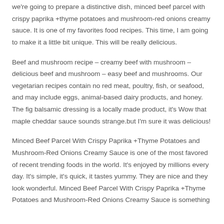we're going to prepare a distinctive dish, minced beef parcel with crispy paprika +thyme potatoes and mushroom-red onions creamy sauce. It is one of my favorites food recipes. This time, I am going to make it a little bit unique. This will be really delicious.
Beef and mushroom recipe – creamy beef with mushroom – delicious beef and mushroom – easy beef and mushrooms. Our vegetarian recipes contain no red meat, poultry, fish, or seafood, and may include eggs, animal-based dairy products, and honey. The fig balsamic dressing is a locally made product, it's Wow that maple cheddar sauce sounds strange.but I'm sure it was delicious!
Minced Beef Parcel With Crispy Paprika +Thyme Potatoes and Mushroom-Red Onions Creamy Sauce is one of the most favored of recent trending foods in the world. It's enjoyed by millions every day. It's simple, it's quick, it tastes yummy. They are nice and they look wonderful. Minced Beef Parcel With Crispy Paprika +Thyme Potatoes and Mushroom-Red Onions Creamy Sauce is something